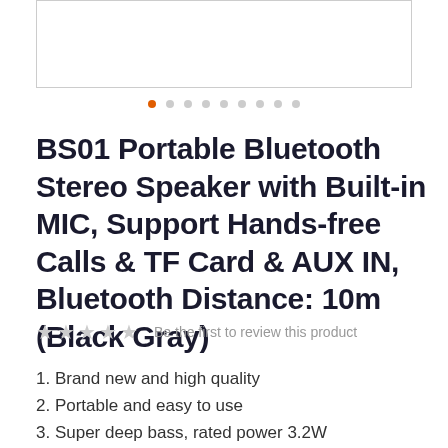[Figure (photo): Product image placeholder (white box with border)]
BS01 Portable Bluetooth Stereo Speaker with Built-in MIC, Support Hands-free Calls & TF Card & AUX IN, Bluetooth Distance: 10m (Black Gray)
Be the first to review this product
1. Brand new and high quality
2. Portable and easy to use
3. Super deep bass, rated power 3.2W
4. Built-in microphone, support hands-free calls